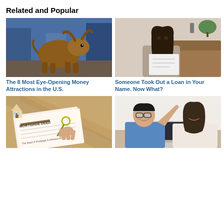Related and Popular
[Figure (photo): Bronze bull statue on a cobblestone street (Charging Bull, Wall Street)]
[Figure (photo): Woman with dark hair looking at a document/letter with a concerned expression]
The 8 Most Eye-Opening Money Attractions in the U.S.
Someone Took Out a Loan in Your Name. Now What?
[Figure (photo): Hand holding house keys over a mortgage deed document with a small model house on a wooden surface]
[Figure (photo): Man and woman high-fiving at a desk, both smiling]